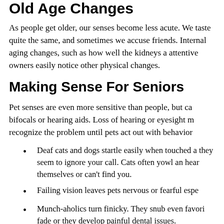Old Age Changes
As people get older, our senses become less acute. We taste quite the same, and sometimes we accuse friends. Internal aging changes, such as how well the kidneys a attentive owners easily notice other physical changes.
Making Sense For Seniors
Pet senses are even more sensitive than people, but ca bifocals or hearing aids. Loss of hearing or eyesight m recognize the problem until pets act out with behavior
Deaf cats and dogs startle easily when touched a they seem to ignore your call. Cats often yowl an hear themselves or can't find you.
Failing vision leaves pets nervous or fearful espe
Munch-aholics turn finicky. They snub even favori fade or they develop painful dental issues.